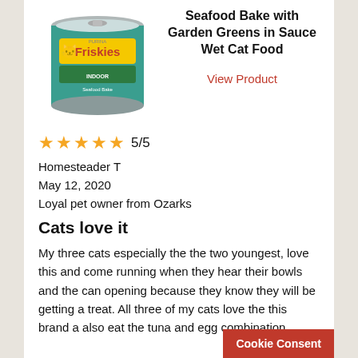[Figure (photo): Friskies brand cat food can - Indoor Seafood Bake variety, teal/green colored can with cat image]
Seafood Bake with Garden Greens in Sauce Wet Cat Food
View Product
5/5
Homesteader T
May 12, 2020
Loyal pet owner from Ozarks
Cats love it
My three cats especially the the two youngest, love this and come running when they hear their bowls and the can opening because they know they will be getting a treat. All three of my cats love the this brand a also eat the tuna and egg combination.